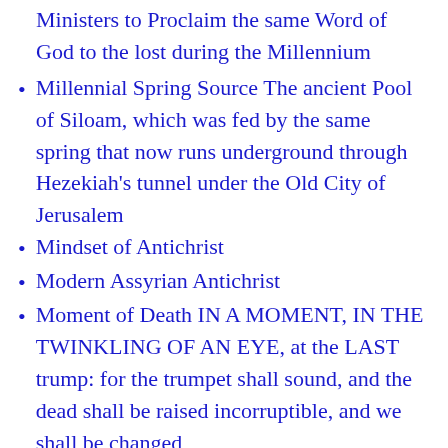Ministers to Proclaim the same Word of God to the lost during the Millennium
Millennial Spring Source The ancient Pool of Siloam, which was fed by the same spring that now runs underground through Hezekiah’s tunnel under the Old City of Jerusalem
Mindset of Antichrist
Modern Assyrian Antichrist
Moment of Death IN A MOMENT, IN THE TWINKLING OF AN EYE, at the LAST trump: for the trumpet shall sound, and the dead shall be raised incorruptible, and we shall be changed
Monsoons
Mount of Olives Splits And his feet shall